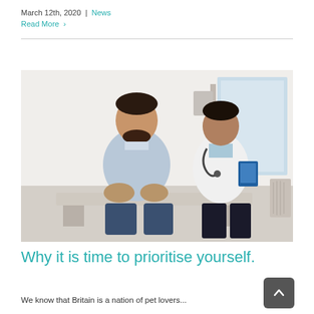March 12th, 2020 | News
Read More >
[Figure (photo): A male patient sitting on an examination table next to a smiling doctor in a white coat holding a blue clipboard, in a bright medical office setting.]
Why it is time to prioritise yourself.
We know that Britain is a nation of pet lovers...